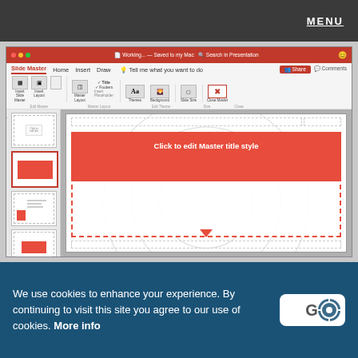MENU
[Figure (screenshot): PowerPoint Slide Master view showing a red-themed presentation with ribbon toolbar (Slide Master, Home, Insert, Draw tabs visible), slide panel on left with 5 thumbnails, and main editing area showing a red title slide with 'Click to edit Master title style' and 'Click to edit Master subtitle style']
We use cookies to enhance your experience. By continuing to visit this site you agree to our use of cookies. More info